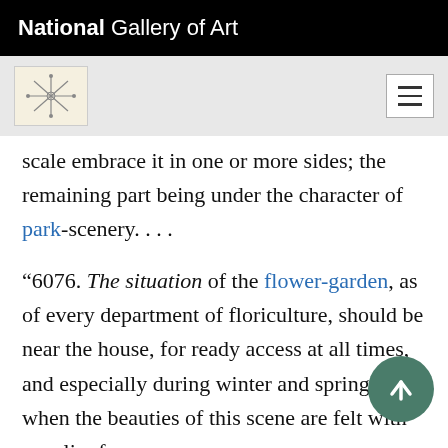National Gallery of Art
scale embrace it in one or more sides; the remaining part being under the character of park-scenery. . . .
“6076. The situation of the flower-garden, as of every department of floriculture, should be near the house, for ready access at all times, and especially during winter and spring, when the beauties of this scene are felt with peculiar force. . . .
“6079. To place the flower-garden south-east south-west of the house, and between it and kitchen-garden, is in general a desirable